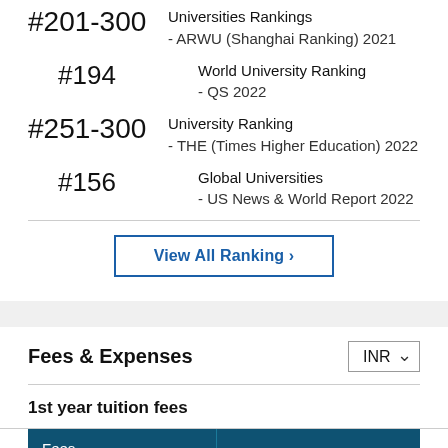#201-300 Universities Rankings - ARWU (Shanghai Ranking) 2021
#194 World University Ranking - QS 2022
#251-300 University Ranking - THE (Times Higher Education) 2022
#156 Global Universities - US News & World Report 2022
View All Ranking ›
Fees & Expenses
1st year tuition fees
| Fees |  |
| --- | --- |